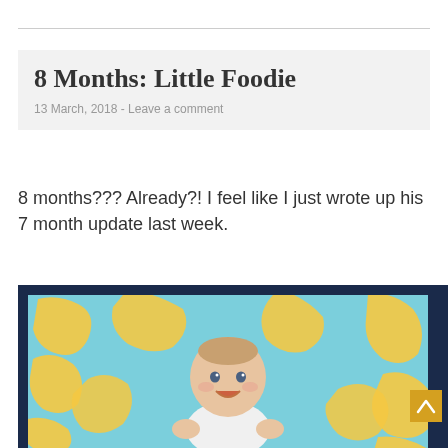8 Months: Little Foodie
13 March, 2018 - Leave a comment
8 months??? Already?! I feel like I just wrote up his 7 month update last week.
[Figure (photo): A smiling baby lying on a colourful crocheted blanket with yellow animal patterns on a light blue background.]